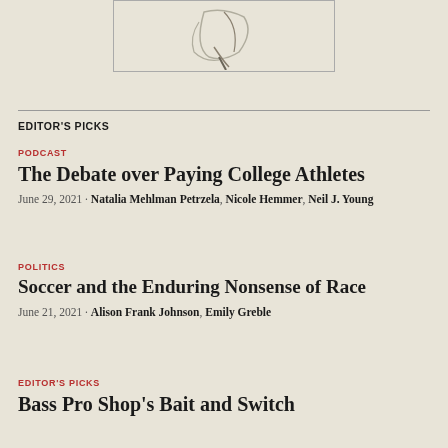[Figure (illustration): Partial illustration showing a stylized figure with a quill/pen, line art in gray tones on beige background]
EDITOR'S PICKS
PODCAST
The Debate over Paying College Athletes
June 29, 2021 · Natalia Mehlman Petrzela, Nicole Hemmer, Neil J. Young
POLITICS
Soccer and the Enduring Nonsense of Race
June 21, 2021 · Alison Frank Johnson, Emily Greble
EDITOR'S PICKS
Bass Pro Shop's Bait and Switch